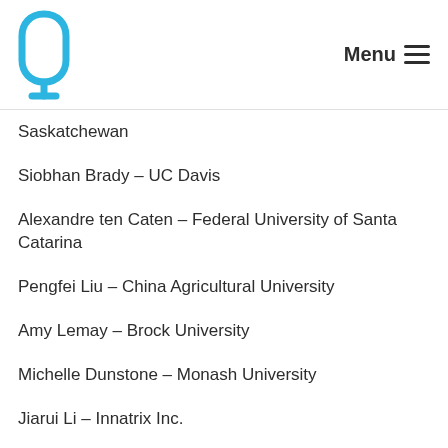Menu
Saskatchewan
Siobhan Brady – UC Davis
Alexandre ten Caten – Federal University of Santa Catarina
Pengfei Liu – China Agricultural University
Amy Lemay – Brock University
Michelle Dunstone – Monash University
Jiarui Li – Innatrix Inc.
Ji Zhou – National Institute of Agricultural Botany
Jonathan Claussen – Iowa State University
Hailing Jin – UC Riverside